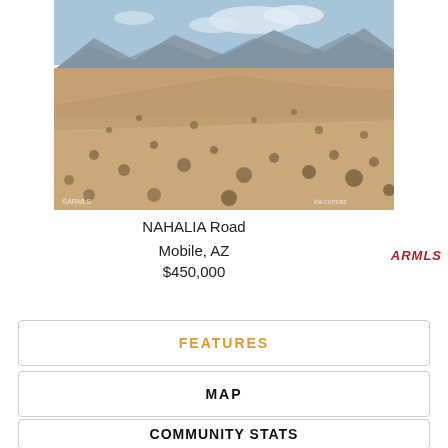[Figure (photo): Aerial view of desert land in Mobile, AZ. Sandy terrain with sparse desert shrubs and mountain range visible in the background under partly cloudy sky.]
NAHALIA Road
Mobile, AZ
$450,000
ARMLS
FEATURES
MAP
COMMUNITY STATS